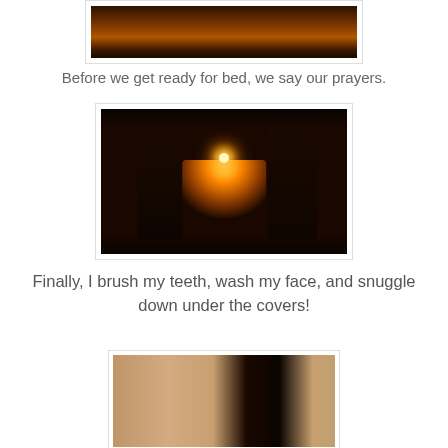[Figure (photo): Dark photo showing a dimly lit scene with warm orange tones, partially cropped at top]
Before we get ready for bed, we say our prayers.
[Figure (photo): Dark room photo showing a person holding a lit candle lantern with framed pictures/icons visible on the walls in background]
Finally, I brush my teeth, wash my face, and snuggle down under the covers!
[Figure (photo): Bathroom scene with warm tones, partially cropped at the bottom of the page]